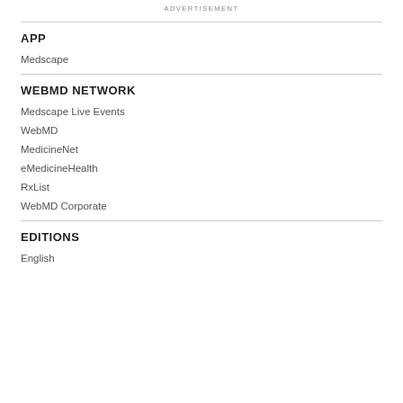ADVERTISEMENT
APP
Medscape
WEBMD NETWORK
Medscape Live Events
WebMD
MedicineNet
eMedicineHealth
RxList
WebMD Corporate
EDITIONS
English